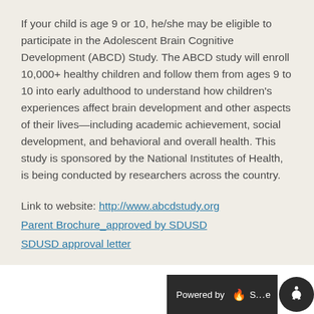If your child is age 9 or 10, he/she may be eligible to participate in the Adolescent Brain Cognitive Development (ABCD) Study. The ABCD study will enroll 10,000+ healthy children and follow them from ages 9 to 10 into early adulthood to understand how children's experiences affect brain development and other aspects of their lives—including academic achievement, social development, and behavioral and overall health. This study is sponsored by the National Institutes of Health, is being conducted by researchers across the country.
Link to website: http://www.abcdstudy.org
Parent Brochure_approved by SDUSD
SDUSD approval letter
Powered by S...